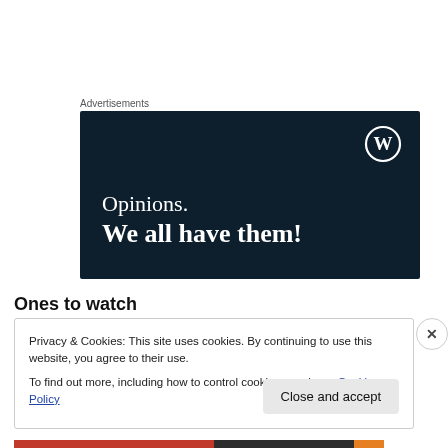Advertisements
[Figure (illustration): WordPress advertisement banner with dark navy background. Shows WordPress logo (circle W) in top right, text 'Opinions.' on one line and 'We all have them!' in bold below, in white serif font.]
Ones to watch
Privacy & Cookies: This site uses cookies. By continuing to use this website, you agree to their use.
To find out more, including how to control cookies, see here: Cookie Policy
Close and accept